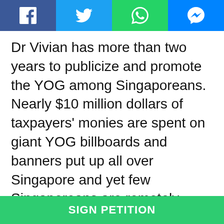[Figure (other): Social media share buttons bar: Facebook (blue), Twitter (light blue), WhatsApp (green), Messenger (blue)]
Dr Vivian has more than two years to publicize and promote the YOG among Singaporeans. Nearly $10 million dollars of taxpayers' monies are spent on giant YOG billboards and banners put up all over Singapore and yet few Singaporeans are remotely interested in it. In an online poll conducted by Channel News Asia two weeks ago, 88 percent of some 6,400 Singaporeans said they are "not interested in the YOG at all" while 4 percent has never heard about it despite the extensive coverage given by the Singapore media. The lack of interest from Singaporeans for the YOG is evidenced by the rows of empty seats at its games and events with
SIGN PETITION